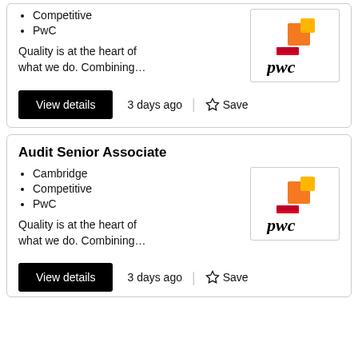Competitive
PwC
Quality is at the heart of what we do. Combining...
[Figure (logo): PwC logo with orange and red stacked blocks above 'pwc' in black italic text]
3 days ago
Save
Audit Senior Associate
Cambridge
Competitive
PwC
Quality is at the heart of what we do. Combining...
[Figure (logo): PwC logo with orange and red stacked blocks above 'pwc' in black italic text]
3 days ago
Save